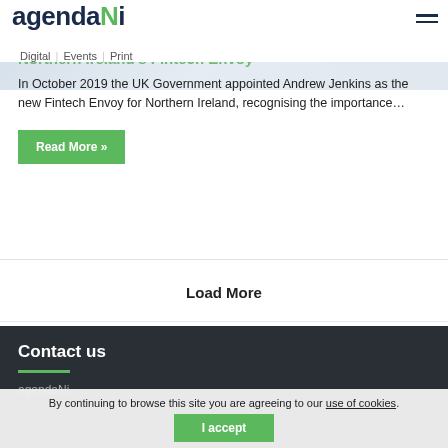agendaNi Digital | Events | Print
Northern Ireland's Fintech Envoy
In October 2019 the UK Government appointed Andrew Jenkins as the new Fintech Envoy for Northern Ireland, recognising the importance…
Read More »
Load More
Contact us
agendaNi
By continuing to browse this site you are agreeing to our use of cookies.
I accept